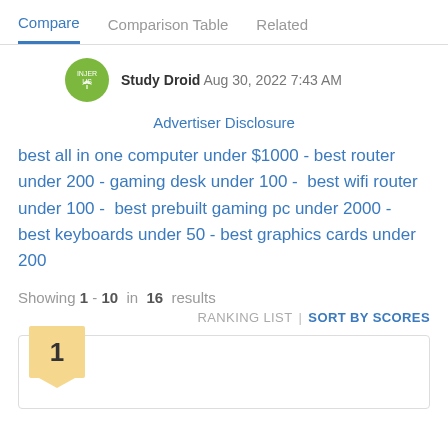Compare | Comparison Table | Related
Study Droid  Aug 30, 2022 7:43 AM
Advertiser Disclosure
best all in one computer under $1000 - best router under 200 - gaming desk under 100 -  best wifi router under 100 -  best prebuilt gaming pc under 2000 -  best keyboards under 50 - best graphics cards under 200
Showing 1 - 10 in 16 results
RANKING LIST | SORT BY SCORES
[Figure (other): Rank badge showing number 1 in a golden/tan square with a downward pointing triangle/pointer at the bottom]